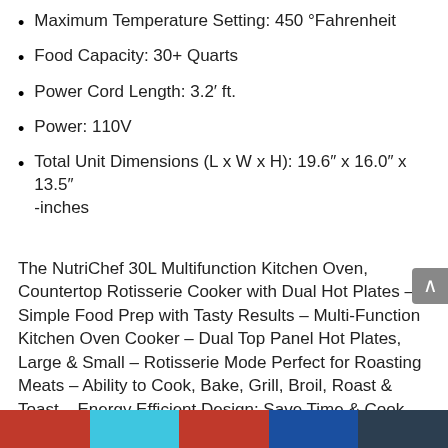Maximum Temperature Setting: 450 °Fahrenheit
Food Capacity: 30+ Quarts
Power Cord Length: 3.2′ ft.
Power: 110V
Total Unit Dimensions (L x W x H): 19.6″ x 16.0″ x 13.5″ -inches
The NutriChef 30L Multifunction Kitchen Oven, Countertop Rotisserie Cooker with Dual Hot Plates – Simple Food Prep with Tasty Results – Multi-Function Kitchen Oven Cooker – Dual Top Panel Hot Plates, Large & Small – Rotisserie Mode Perfect for Roasting Meats – Ability to Cook, Bake, Grill, Broil, Roast & Toast – Energy Efficient Design: Save Time & Cook Quickly – Time & Temperature Setting Adjustment – Easy Access Glass Door – Convenient Cooking Lamp Light –